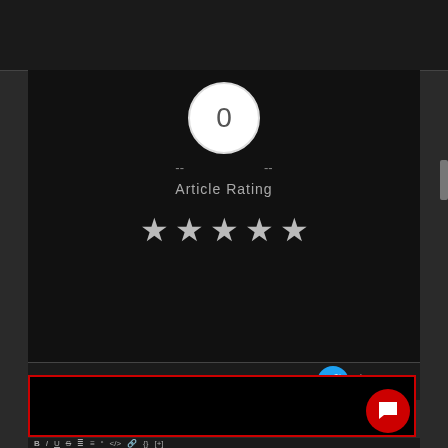[Figure (screenshot): Article rating widget showing a circular badge with '0', two dashes on either side, 'Article Rating' label, and five stars below on a dark background]
Subscribe
Login
[Figure (screenshot): Comment text editor box with red border and toolbar with formatting buttons B I U S and others]